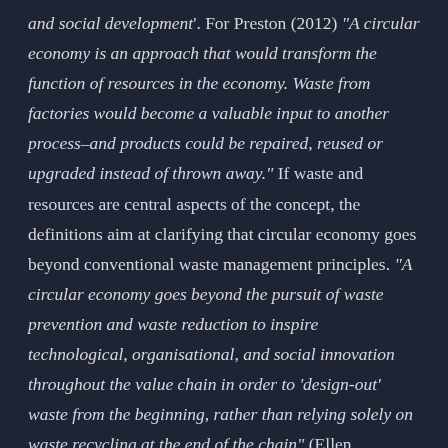and social development'. For Preston (2012) 'A circular economy is an approach that would transform the function of resources in the economy. Waste from factories would become a valuable input to another process–and products could be repaired, reused or upgraded instead of thrown away.'  If waste and resources are central aspects of the concept, the definitions aim at clarifying that circular economy goes beyond conventional waste management principles.  'A circular economy goes beyond the pursuit of waste prevention and waste reduction to inspire technological, organisational, and social innovation throughout the value chain  in order to 'design -out' waste from the beginning, rather than relying solely on waste recycling at the end of the chain' (Ellen MacArthur Foundation, 2013).  The notion of material flows can be found in